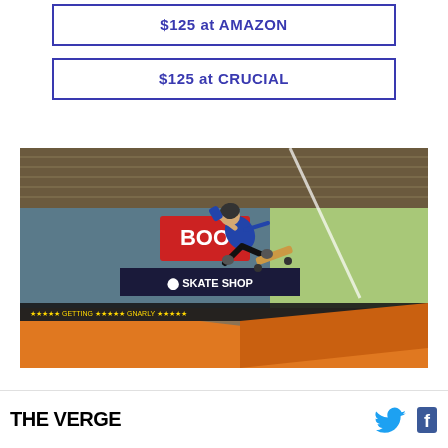$125 at AMAZON
$125 at CRUCIAL
[Figure (photo): Screenshot from Tony Hawk's Pro Skater video game showing a skater performing an aerial trick in an indoor skate park with orange ramps, wooden ceiling, and colorful murals in the background.]
THE VERGE  [Twitter icon] [Facebook icon]